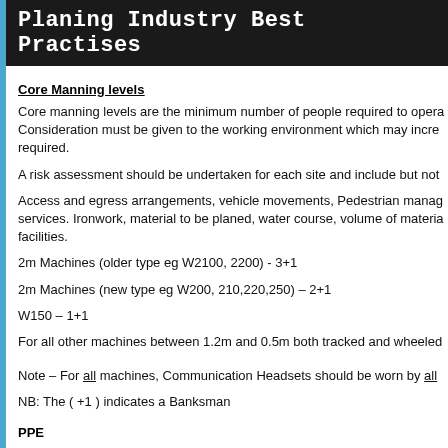Planing Industry Best Practises
Core Manning levels
Core manning levels are the minimum number of people required to opera... Consideration must be given to the working environment which may incre... required.
A risk assessment should be undertaken for each site and include but not...
Access and egress arrangements, vehicle movements, Pedestrian manag... services. Ironwork, material to be planed, water course, volume of materia... facilities.
2m Machines (older type eg W2100, 2200) - 3+1
2m Machines (new type eg W200, 210,220,250) – 2+1
W150 – 1+1
For all other machines between 1.2m and 0.5m both tracked and wheeled...
Note – For all machines, Communication Headsets should be worn by all ...
NB:  The ( +1 ) indicates a Banksman
PPE